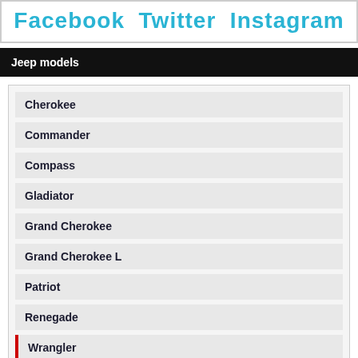Facebook  Twitter  Instagram
Jeep models
Cherokee
Commander
Compass
Gladiator
Grand Cherokee
Grand Cherokee L
Patriot
Renegade
Wrangler
75th Anniversary
Blackhawk